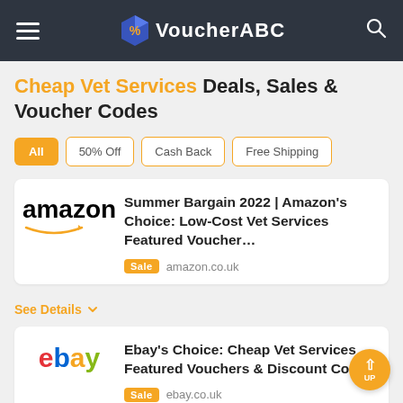VoucherABC
Cheap Vet Services Deals, Sales & Voucher Codes
All
50% Off
Cash Back
Free Shipping
Summer Bargain 2022 | Amazon's Choice: Low-Cost Vet Services Featured Voucher…
Sale  amazon.co.uk
See Details
Ebay's Choice: Cheap Vet Services Featured Vouchers & Discount Codes
Sale  ebay.co.uk